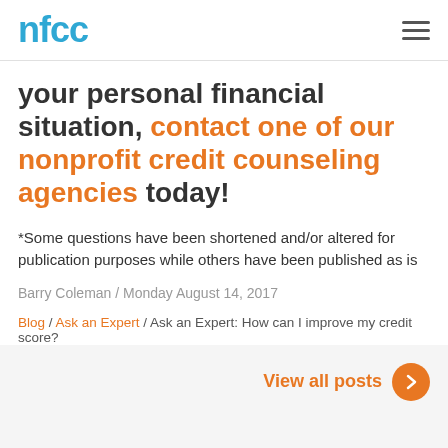nfcc
your personal financial situation, contact one of our nonprofit credit counseling agencies today!
*Some questions have been shortened and/or altered for publication purposes while others have been published as is
Barry Coleman / Monday August 14, 2017
Blog / Ask an Expert / Ask an Expert: How can I improve my credit score?
View all posts